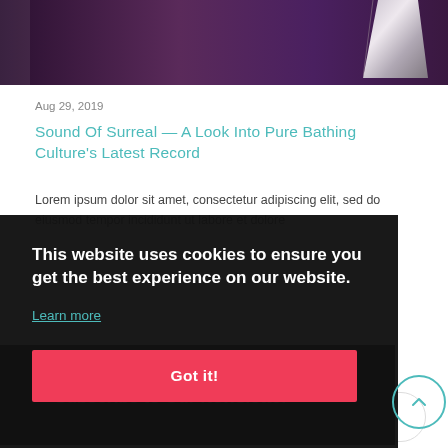[Figure (photo): Top portion of a photo — dark purple/maroon background with a metallic mechanical element visible at top right]
Aug 29, 2019
Sound Of Surreal — A Look Into Pure Bathing Culture's Latest Record
Lorem ipsum dolor sit amet, consectetur adipiscing elit, sed do eiusmod tempor incididunt ut labore et dolore
This website uses cookies to ensure you get the best experience on our website.
Learn more
Got it!
Subscribe to Our Newsletter
Email Address